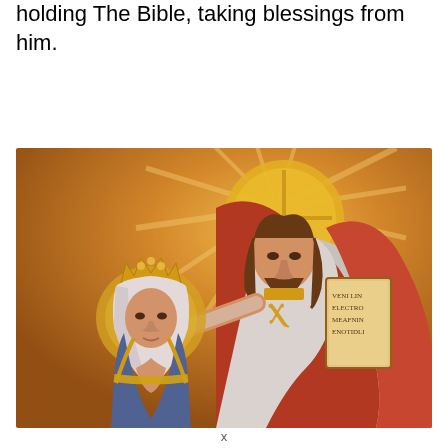holding The Bible, taking blessings from him.
[Figure (illustration): Religious icon painting depicting Jesus Christ standing, wearing a red robe, with a chi-rho symbol on his garment, holding The Bible with text inscribed on it, and placing his right hand on the head of a crowned, kneeling female figure (likely the Virgin Mary) who has her hands in prayer. Christ has a halo with a cross. The painting has golden rays radiating outward in the background, in a warm amber/gold tone.]
x